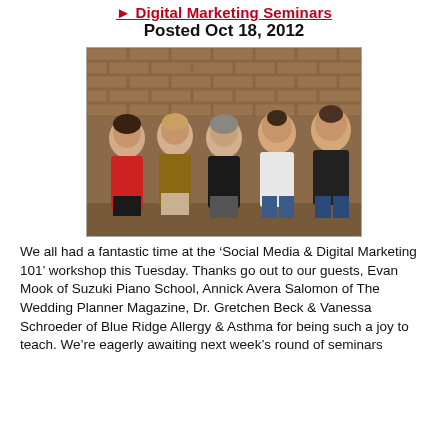Digital Marketing Seminar
Posted Oct 18, 2012
[Figure (photo): Group photo of five people standing in front of a brick wall. Three women on the left, two men on the right.]
We all had a fantastic time at the ‘Social Media & Digital Marketing 101’ workshop this Tuesday. Thanks go out to our guests, Evan Mook of Suzuki Piano School, Annick Avera Salomon of The Wedding Planner Magazine, Dr. Gretchen Beck & Vanessa Schroeder of Blue Ridge Allergy & Asthma for being such a joy to teach. We’re eagerly awaiting next week’s round of seminars